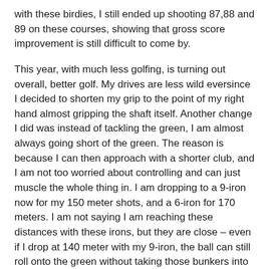with these birdies, I still ended up shooting 87,88 and 89 on these courses, showing that gross score improvement is still difficult to come by.
This year, with much less golfing, is turning out overall, better golf. My drives are less wild eversince I decided to shorten my grip to the point of my right hand almost gripping the shaft itself. Another change I did was instead of tackling the green, I am almost always going short of the green. The reason is because I can then approach with a shorter club, and I am not too worried about controlling and can just muscle the whole thing in. I am dropping to a 9-iron now for my 150 meter shots, and a 6-iron for 170 meters. I am not saying I am reaching these distances with these irons, but they are close – even if I drop at 140 meter with my 9-iron, the ball can still roll onto the green without taking those bunkers into consideration.